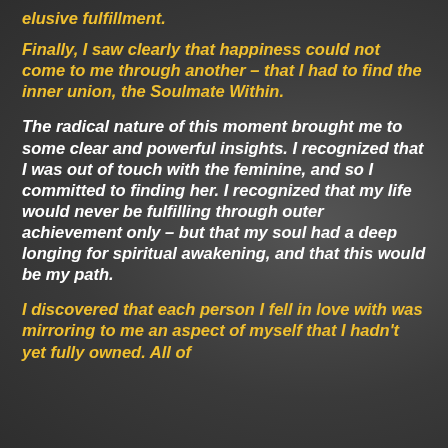elusive fulfillment.
Finally, I saw clearly that happiness could not come to me through another – that I had to find the inner union, the Soulmate Within.
The radical nature of this moment brought me to some clear and powerful insights. I recognized that I was out of touch with the feminine, and so I committed to finding her. I recognized that my life would never be fulfilling through outer achievement only – but that my soul had a deep longing for spiritual awakening, and that this would be my path.
I discovered that each person I fell in love with was mirroring to me an aspect of myself that I hadn't yet fully owned. All of